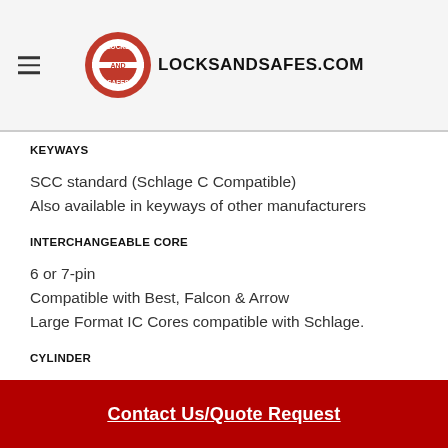LOCKSANDSAFES.COM
KEYWAYS
SCC standard (Schlage C Compatible)
Also available in keyways of other manufacturers
INTERCHANGEABLE CORE
6 or 7-pin
Compatible with Best, Falcon & Arrow
Large Format IC Cores compatible with Schlage.
CYLINDER
6 or 7-pin BrassMortise Cylinder
Contact Us/Quote Request